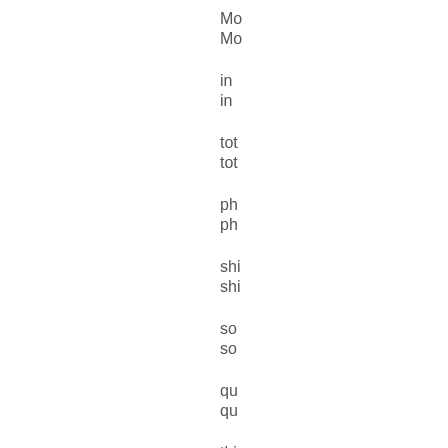Mo
in
tot
ph
shi
so
qu
thi
ye

It
wa
a
ris
mo
to
ma
s